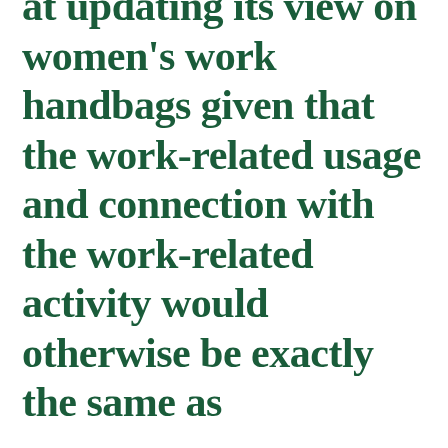at updating its view on women's work handbags given that the work-related usage and connection with the work-related activity would otherwise be exactly the same as...